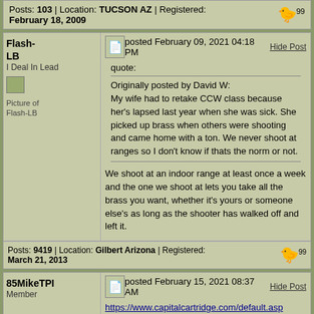Posts: 103 | Location: TUCSON AZ | Registered: February 18, 2009
Flash-LB
I Deal In Lead
Picture of Flash-LB
posted February 09, 2021 04:18 PM
Hide Post
quote:
Originally posted by David W:
My wife had to retake CCW class because her's lapsed last year when she was sick. She picked up brass when others were shooting and came home with a ton. We never shoot at ranges so I don't know if thats the norm or not.
We shoot at an indoor range at least once a week and the one we shoot at lets you take all the brass you want, whether it's yours or someone else's as long as the shooter has walked off and left it.
Posts: 9419 | Location: Gilbert Arizona | Registered: March 21, 2013
85MikeTPI
Member
posted February 15, 2021 08:37 AM
Hide Post
https://www.capitalcartridge.com/default.asp